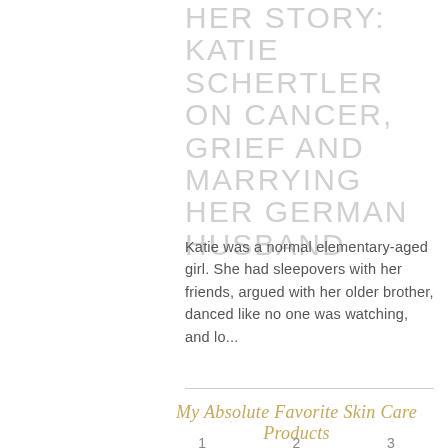HER STORY: KATIE SCHERTLER ON CANCER, GRIEF AND MARRYING HER GERMAN HUSBAND
Katie was a normal elementary-aged girl. She had sleepovers with her friends, argued with her older brother, danced like no one was watching, and lo...
My Absolute Favorite Skin Care Products
1  2  3